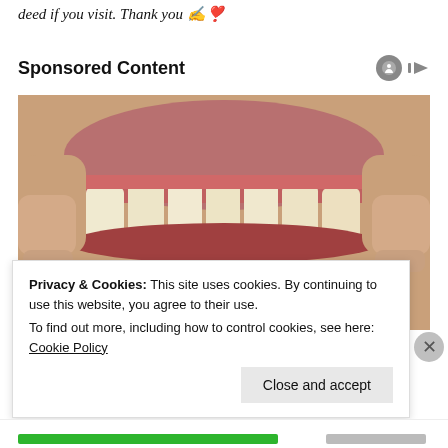deed if you visit. Thank you ✍️❣️
Sponsored Content
[Figure (photo): Close-up photo of a person pulling back their lips to show teeth, with a dental shade guide held below showing tooth color samples.]
Privacy & Cookies: This site uses cookies. By continuing to use this website, you agree to their use.
To find out more, including how to control cookies, see here: Cookie Policy
Close and accept